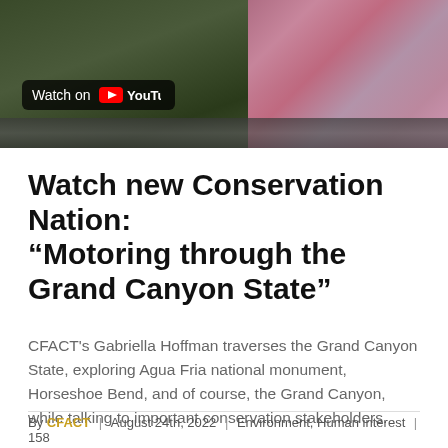[Figure (screenshot): YouTube video thumbnail showing 'Watch on YouTube' badge over a dark outdoor background with a person in a striped shirt on the right side]
Watch new Conservation Nation: “Motoring through the Grand Canyon State”
CFACT's Gabriella Hoffman traverses the Grand Canyon State, exploring Agua Fria national monument, Horseshoe Bend, and of course, the Grand Canyon, while talking to important conservation stakeholders.
By CFACT | August 24th, 2022 | Environment, Human interest | 158